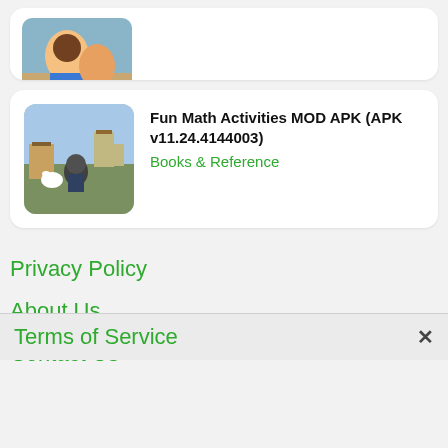[Figure (screenshot): Partial app card at top showing a cropped game/app screenshot with cartoon characters]
[Figure (screenshot): App card for Fun Math Activities MOD APK showing pixel-art RPG style image with character and dog in village]
Fun Math Activities MOD APK (APK v11.24.4144003)
Books & Reference
Privacy Policy
About Us
Contact Us
Terms of Service